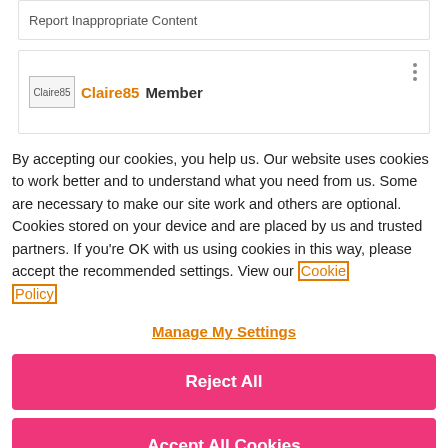Report Inappropriate Content
Claire85  Member
By accepting our cookies, you help us. Our website uses cookies to work better and to understand what you need from us. Some are necessary to make our site work and others are optional. Cookies stored on your device and are placed by us and trusted partners. If you're OK with us using cookies in this way, please accept the recommended settings. View our Cookie Policy
Manage My Settings
Reject All
Accept All Cookies